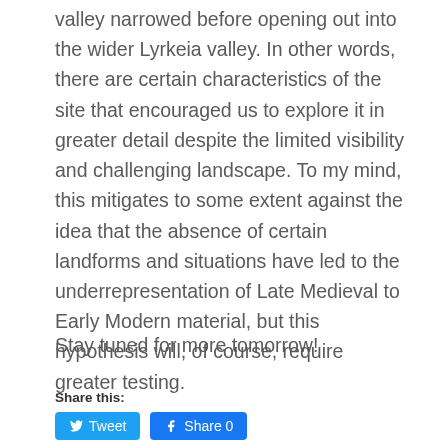valley narrowed before opening out into the wider Lyrkeia valley. In other words, there are certain characteristics of the site that encouraged us to explore it in greater detail despite the limited visibility and challenging landscape. To my mind, this mitigates to some extent against the idea that the absence of certain landforms and situations have led to the underrepresentation of Late Medieval to Early Modern material, but this hypothesis will, of course, require greater testing.
Stay tuned for more tomorrow!
Share this: